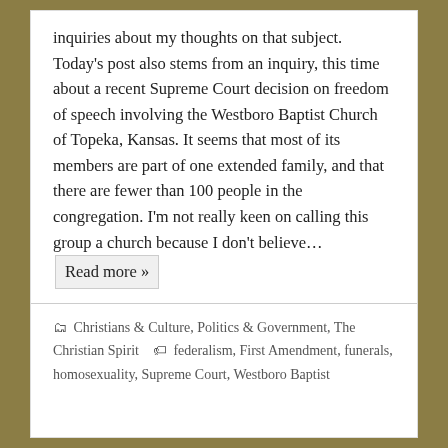inquiries about my thoughts on that subject. Today's post also stems from an inquiry, this time about a recent Supreme Court decision on freedom of speech involving the Westboro Baptist Church of Topeka, Kansas. It seems that most of its members are part of one extended family, and that there are fewer than 100 people in the congregation. I'm not really keen on calling this group a church because I don't believe… Read more »
Christians & Culture, Politics & Government, The Christian Spirit   federalism, First Amendment, funerals, homosexuality, Supreme Court, Westboro Baptist